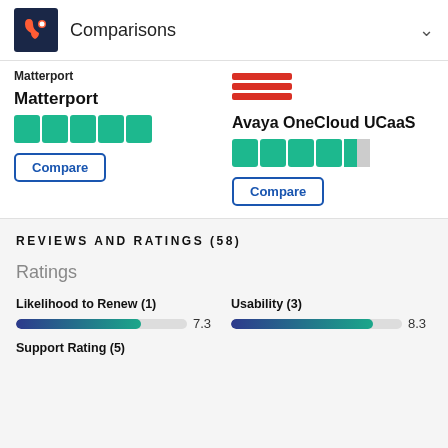Comparisons
Matterport
Matterport
[Figure (other): Matterport 4.5-star rating (green stars)]
Compare
Avaya OneCloud UCaaS
[Figure (other): Avaya OneCloud UCaaS 4.5-star rating (green stars)]
Compare
REVIEWS AND RATINGS (58)
Ratings
Likelihood to Renew (1)
[Figure (other): Progress bar showing 7.3 out of 10]
Usability (3)
[Figure (other): Progress bar showing 8.3 out of 10]
Support Rating (5)